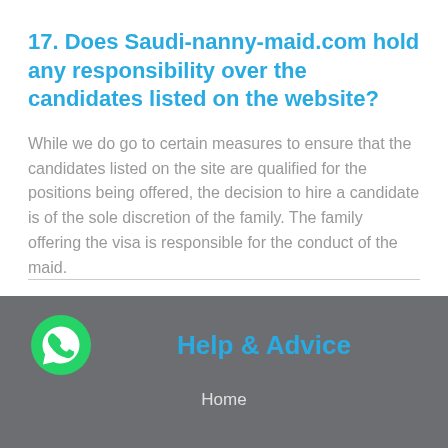17. Does Saudi-nanny-maid.com hold any responsibility over the candidates listed on the website?
While we do go to certain measures to ensure that the candidates listed on the site are qualified for the positions being offered, the decision to hire a candidate is of the sole discretion of the family. The family offering the visa is responsible for the conduct of the maid.
[Figure (logo): WhatsApp green logo icon]
Help & Advice
Home